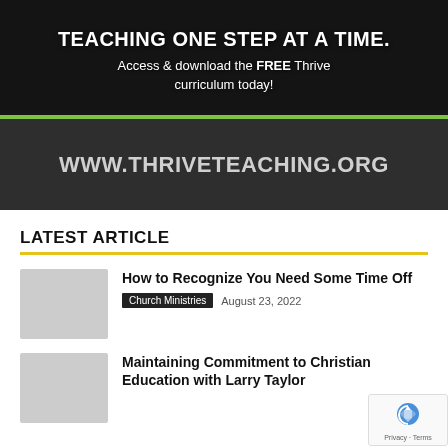[Figure (infographic): Dark banner advertisement for Thrive Teaching curriculum with text 'TEACHING ONE STEP AT A TIME.' and 'Access & download the FREE Thrive curriculum today!' above a green divider line, then 'WWW.THRIVETEACHING.ORG' on dark background below.]
LATEST ARTICLE
How to Recognize You Need Some Time Off
Church Ministries   August 23, 2022
Maintaining Commitment to Christian Education with Larry Taylor